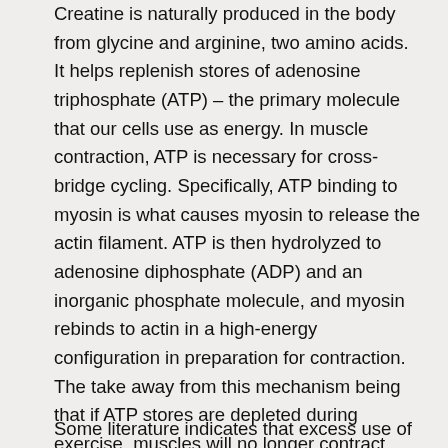Creatine is naturally produced in the body from glycine and arginine, two amino acids. It helps replenish stores of adenosine triphosphate (ATP) – the primary molecule that our cells use as energy. In muscle contraction, ATP is necessary for cross-bridge cycling. Specifically, ATP binding to myosin is what causes myosin to release the actin filament. ATP is then hydrolyzed to adenosine diphosphate (ADP) and an inorganic phosphate molecule, and myosin rebinds to actin in a high-energy configuration in preparation for contraction. The take away from this mechanism being that if ATP stores are depleted during exercise, muscles will no longer contract properly. Creatine, synthesized in the liver and kidneys, travels to skeletal muscle where a creatine kinase phosphorylates it. Phosphocreatine is the actual molecule that enhances ATP regeneration.
Some literature indicates that excess use of creatine